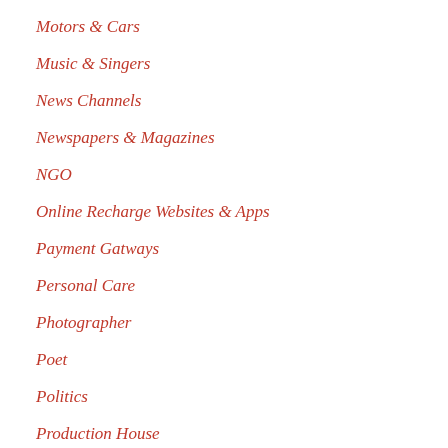Motors & Cars
Music & Singers
News Channels
Newspapers & Magazines
NGO
Online Recharge Websites & Apps
Payment Gatways
Personal Care
Photographer
Poet
Politics
Production House
Race Walking
Radio / FM Channels
Real Estate